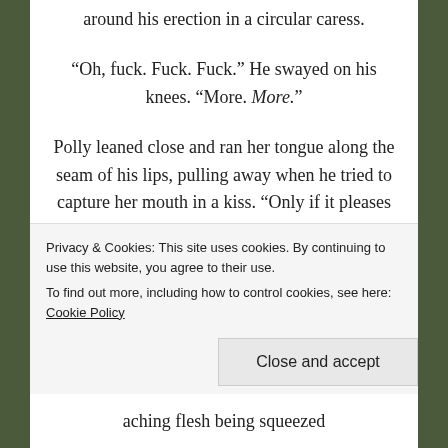around his erection in a circular caress.
“Oh, fuck. Fuck. Fuck.” He swayed on his knees. “More. More.”
Polly leaned close and ran her tongue along the seam of his lips, pulling away when he tried to capture her mouth in a kiss. “Only if it pleases me.”
“Yes.” His nod was disjointed, breathing uneven. “Only if it
aching flesh being squeezed
Privacy & Cookies: This site uses cookies. By continuing to use this website, you agree to their use.
To find out more, including how to control cookies, see here: Cookie Policy
Close and accept